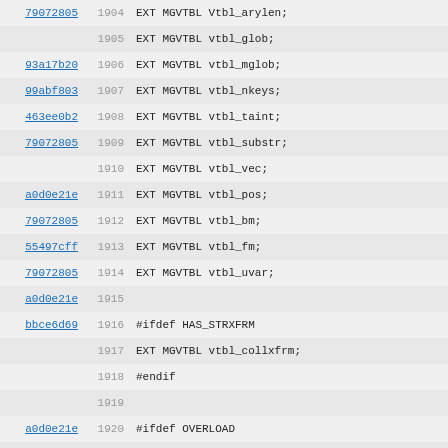Source code view with git blame annotations, lines 1904-1935+
| commit | line | code |
| --- | --- | --- |
| 79072805 | 1904 | EXT MGVTBL Vtbl_arylen; |
| LW | 1905 | EXT MGVTBL vtbl_glob; |
| 93a17b20 | 1906 | EXT MGVTBL vtbl_mglob; |
| 99abf803 | 1907 | EXT MGVTBL vtbl_nkeys; |
| 463ee0b2 | 1908 | EXT MGVTBL vtbl_taint; |
| 79072805 | 1909 | EXT MGVTBL vtbl_substr; |
| LW | 1910 | EXT MGVTBL vtbl_vec; |
| a0d0e21e | 1911 | EXT MGVTBL vtbl_pos; |
| 79072805 | 1912 | EXT MGVTBL vtbl_bm; |
| 55497cff | 1913 | EXT MGVTBL vtbl_fm; |
| 79072805 | 1914 | EXT MGVTBL vtbl_uvar; |
| a0d0e21e | 1915 |  |
| bbce6d69 | 1916 | #ifdef HAS_STRXFRM |
|  | 1917 | EXT MGVTBL vtbl_collxfrm; |
|  | 1918 | #endif |
|  | 1919 |  |
| a0d0e21e | 1920 | #ifdef OVERLOAD |
| LW | 1921 | EXT MGVTBL vtbl_amagic; |
|  | 1922 | EXT MGVTBL vtbl_amagicelem; |
|  | 1923 | #endif /* OVERLOAD */ |
|  | 1924 |  |
| bbce6d69 | 1925 | #endif /* !DOINIT */ |
| 85e6fe83 | 1926 |  |
| a0d0e21e | 1927 | #ifdef OVERLOAD |
| LW | 1928 | EXT long amagic_generation; |
|  | 1929 |  |
| 748a9306 | 1930 | #define NofAMmeth 29 |
| a0d0e21e | 1931 | #ifdef DOINIT |
| LW | 1932 | EXT char * AMG_names[NofAMmeth][2] = { |
|  | 1933 |    {"fallback","abs"}, |
|  | 1934 |    {"bool", "nomethod"}, |
|  | 1935 |    {"\"\"", "0+"}, |